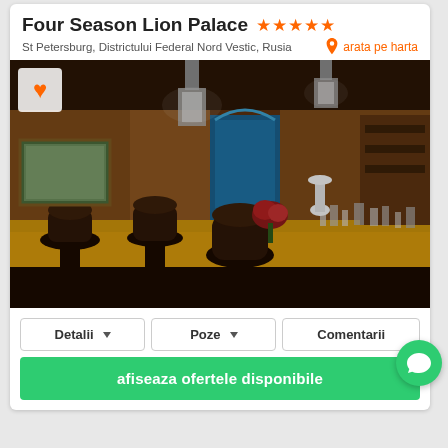Four Season Lion Palace ★★★★★
St Petersburg, Districtului Federal Nord Vestic, Rusia
arata pe harta
[Figure (photo): Interior bar/lounge of Four Season Lion Palace hotel showing dark wood paneling, leather bar stools, a bar counter with glassware, hanging crystal chandeliers, flower arrangement, and blue decorative window.]
Detalii
Poze
Comentarii
afiseaza ofertele disponibile